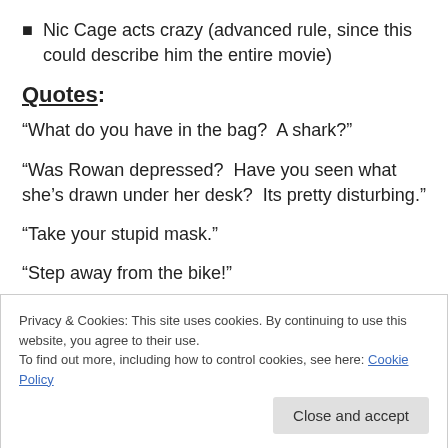Nic Cage acts crazy (advanced rule, since this could describe him the entire movie)
Quotes:
“What do you have in the bag?  A shark?”
“Was Rowan depressed?  Have you seen what she’s drawn under her desk?  Its pretty disturbing.”
“Take your stupid mask.”
“Step away from the bike!”
Privacy & Cookies: This site uses cookies. By continuing to use this website, you agree to their use.
To find out more, including how to control cookies, see here: Cookie Policy